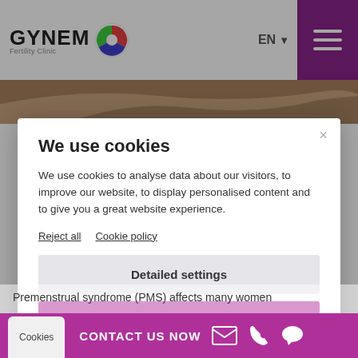[Figure (screenshot): GYNEM Fertility Clinic logo with colorful circle icon]
EN ▾
[Figure (illustration): Hamburger menu icon (three white lines on purple background)]
[Figure (photo): Partial photo of a woman's hair/head visible behind cookie modal]
We use cookies
We use cookies to analyse data about our visitors, to improve our website, to display personalised content and to give you a great website experience.
Reject all   Cookie policy
Detailed settings
Accept all
Powered by Cookies Správně
Premenstrual syndrome (PMS) affects many women
Cookies
CONTACT US NOW